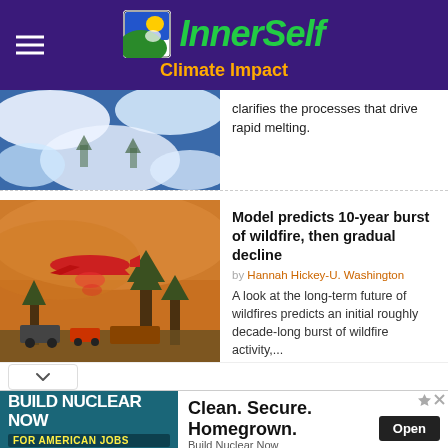[Figure (logo): InnerSelf Climate Impact website header with green and yellow logo icon, green italic brand name 'InnerSelf', orange subtitle 'Climate Impact' on purple background]
clarifies the processes that drive rapid melting.
[Figure (photo): Aerial photo of snowy/icy landscape with blue sky]
[Figure (photo): Photo of red fire-fighting aircraft dropping retardant over wildfire with trees and vehicles below]
Model predicts 10-year burst of wildfire, then gradual decline
by Hannah Hickey-U. Washington
A look at the long-term future of wildfires predicts an initial roughly decade-long burst of wildfire activity,...
[Figure (infographic): Advertisement banner: 'BUILD NUCLEAR NOW FOR AMERICAN JOBS' on teal background. Right side: 'Clean. Secure. Homegrown.' with Open button. Source: Build Nuclear Now]